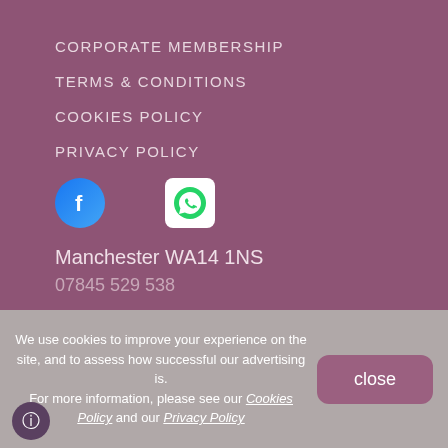CORPORATE MEMBERSHIP
TERMS & CONDITIONS
COOKIES POLICY
PRIVACY POLICY
[Figure (logo): Facebook logo icon (blue circle with white F) and WhatsApp logo icon (white rounded square with green phone)]
Manchester WA14 1NS
07845 529 538
We use cookies to improve your experience on the site, and to assess how successful our advertising is. For more information, please see our Cookies Policy and our Privacy Policy